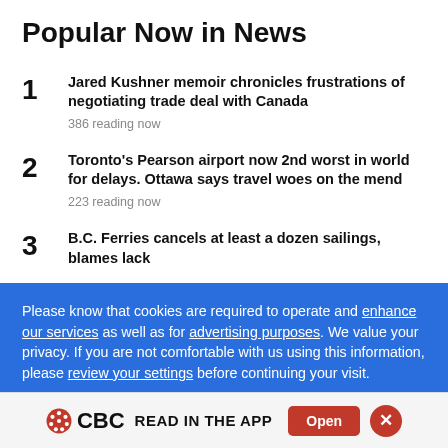Popular Now in News
Jared Kushner memoir chronicles frustrations of negotiating trade deal with Canada
386 reading now
Toronto's Pearson airport now 2nd worst in world for delays. Ottawa says travel woes on the mend
223 reading now
B.C. Ferries cancels at least a dozen sailings, blames lack
Please know that cookies are required to operate and enhance our services as well as for advertising purposes. We value your privacy. If you are not comfortable with us using this information, please review your settings before continuing your visit.
CBC READ IN THE APP  Open